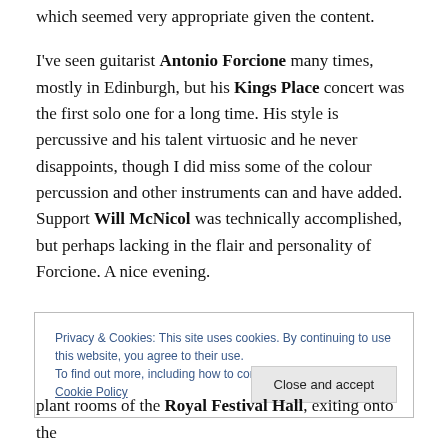which seemed very appropriate given the content.
I've seen guitarist Antonio Forcione many times, mostly in Edinburgh, but his Kings Place concert was the first solo one for a long time. His style is percussive and his talent virtuosic and he never disappoints, though I did miss some of the colour percussion and other instruments can and have added. Support Will McNicol was technically accomplished, but perhaps lacking in the flair and personality of Forcione. A nice evening.
Privacy & Cookies: This site uses cookies. By continuing to use this website, you agree to their use.
To find out more, including how to control cookies, see here: Cookie Policy
plant rooms of the Royal Festival Hall, exiting onto the